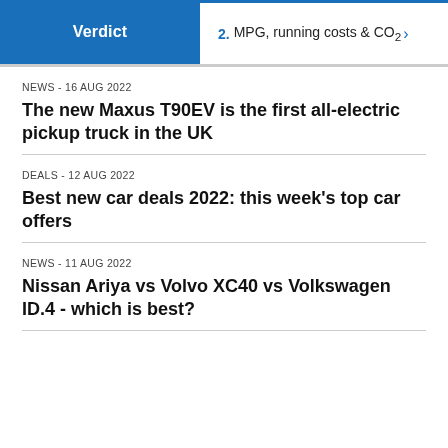Verdict | 2. MPG, running costs & CO2
NEWS - 16 Aug 2022
The new Maxus T90EV is the first all-electric pickup truck in the UK
DEALS - 12 Aug 2022
Best new car deals 2022: this week's top car offers
NEWS - 11 Aug 2022
Nissan Ariya vs Volvo XC40 vs Volkswagen ID.4 - which is best?